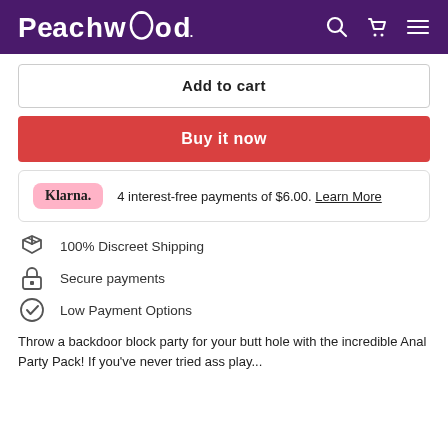[Figure (logo): Peachwood logo in white on purple header background with search, cart, and menu icons]
Add to cart
Buy it now
4 interest-free payments of $6.00. Learn More
100% Discreet Shipping
Secure payments
Low Payment Options
Throw a backdoor block party for your butt hole with the incredible Anal Party Pack! If you've never tried ass play...